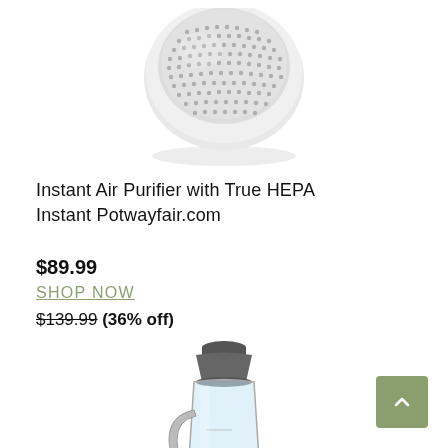[Figure (photo): Instant Air Purifier product photo — rounded white device with perforated mesh top]
Instant Air Purifier with True HEPA
Instant Potwayfair.com
$89.99
SHOP NOW
$139.99 (36% off)
[Figure (photo): Vitamix-style blender with clear container and dark base, partially visible]